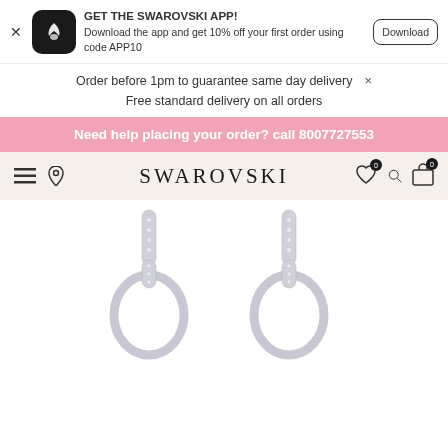[Figure (screenshot): Swarovski app promotional banner with app icon, text about 10% off with code APP10, and Download button]
Order before 1pm to guarantee same day delivery
Free standard delivery on all orders
Need help placing your order? call 8007727553
[Figure (screenshot): Swarovski website navigation bar with hamburger menu, location pin, SWAROVSKI logo, heart icon with 0 badge, search icon, and bag icon with 0 badge]
[Figure (photo): Two Swarovski crystal earrings in silver/rhodium plated finish with circular design and crystal-encrusted bar detail]